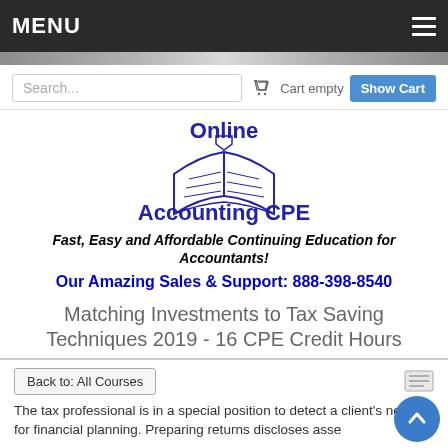MENU
Search...  Cart empty  Show Cart
[Figure (logo): Online Accounting CPE logo with book illustration]
Fast, Easy and Affordable Continuing Education for Accountants!
Our Amazing Sales & Support: 888-398-8540
Matching Investments to Tax Saving Techniques 2019 - 16 CPE Credit Hours
Back to: All Courses
The tax professional is in a special position to detect a client's need for financial planning. Preparing returns discloses asse...